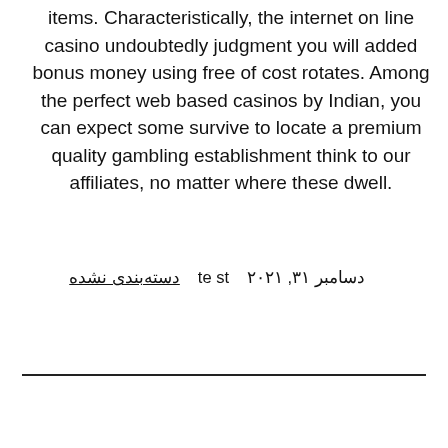items. Characteristically, the internet on line casino undoubtedly judgment you will added bonus money using free of cost rotates. Among the perfect web based casinos by Indian, you can expect some survive to locate a premium quality gambling establishment think to our affiliates, no matter where these dwell.
دسامبر ۳۱, ۲۰۲۱   te st   دسته‌بندی نشده